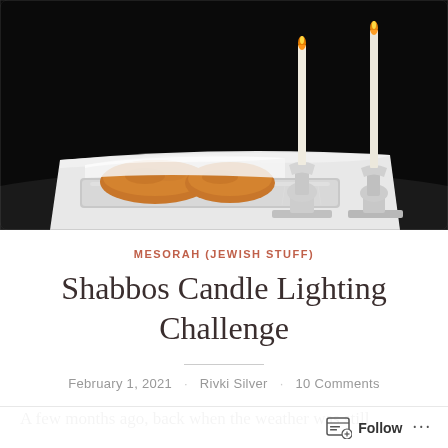[Figure (photo): Photo of Shabbos items on a dark background: two tall white candles in crystal candlesticks with flames, and a covered challah bread on a silver tray, all against a black background.]
MESORAH (JEWISH STUFF)
Shabbos Candle Lighting Challenge
February 1, 2021 · Rivki Silver · 10 Comments
A few months ago, back when the weather was still